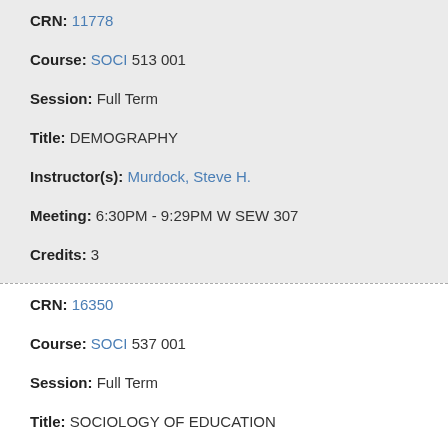CRN: 11778
Course: SOCI 513 001
Session: Full Term
Title: DEMOGRAPHY
Instructor(s): Murdock, Steve H.
Meeting: 6:30PM - 9:29PM W SEW 307
Credits: 3
CRN: 16350
Course: SOCI 537 001
Session: Full Term
Title: SOCIOLOGY OF EDUCATION